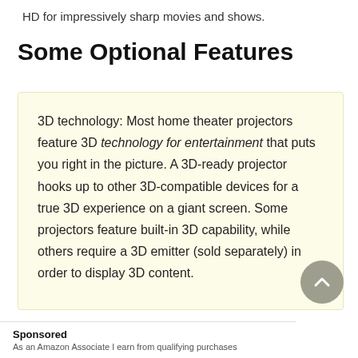HD for impressively sharp movies and shows.
Some Optional Features
3D technology: Most home theater projectors feature 3D technology for entertainment that puts you right in the picture. A 3D-ready projector hooks up to other 3D-compatible devices for a true 3D experience on a giant screen. Some projectors feature built-in 3D capability, while others require a 3D emitter (sold separately) in order to display 3D content.
Sponsored
As an Amazon Associate I earn from qualifying purchases